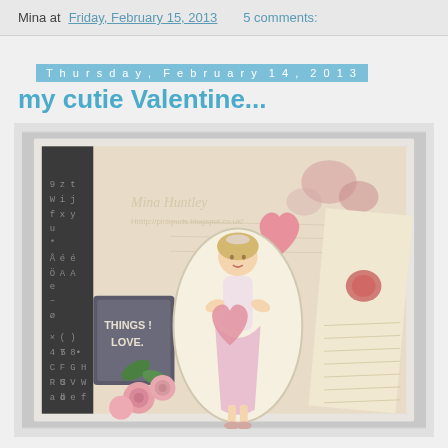Mina at Friday, February 15, 2013   5 comments:
Thursday, February 14, 2013
my cutie Valentine...
[Figure (photo): A handmade Valentine's Day card featuring a vintage-style illustration of a girl in a pink dress holding a heart, with decorative elements including roses, a pink heart, alphabet paper, and a tag reading 'THINGS I LOVE.' The card is photographed against a grey background.]